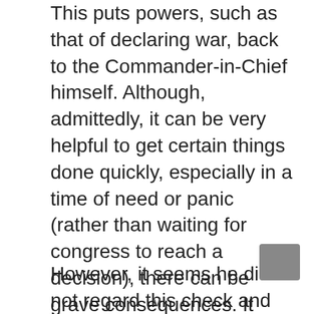This puts powers, such as that of declaring war, back to the Commander-in-Chief himself. Although, admittedly, it can be very helpful to get certain things done quickly, especially in a time of need or panic (rather than waiting for congress to reach a decision), there can be grave consequences. It extends tolerance for presidents to disregard the system of checks and balances that is set in place in future instances. A classic example of this is the recent travel ban that was signed by President Trump. Fortunately, the courts have blocked it.
However, it seems he did not regard this check and balance as adequate. As a matter of fact, he went ahead and did it again (thankfully it was
v